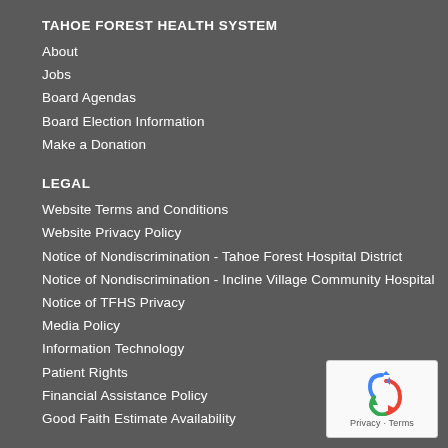TAHOE FOREST HEALTH SYSTEM
About
Jobs
Board Agendas
Board Election Information
Make a Donation
LEGAL
Website Terms and Conditions
Website Privacy Policy
Notice of Nondiscrimination - Tahoe Forest Hospital District
Notice of Nondiscrimination - Incline Village Community Hospital
Notice of TFHS Privacy
Media Policy
Information Technology
Patient Rights
Financial Assistance Policy
Good Faith Estimate Availability
[Figure (other): reCAPTCHA widget showing recycling arrows icon and Privacy - Terms text]